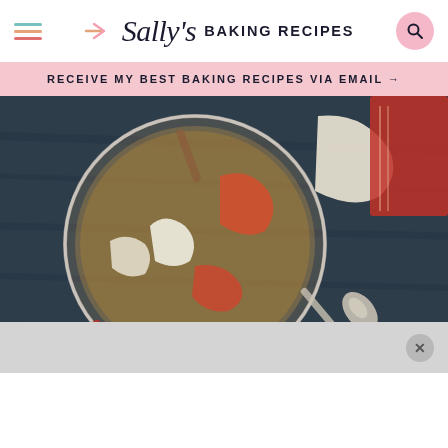Sally's BAKING RECIPES
RECEIVE MY BEST BAKING RECIPES VIA EMAIL →
[Figure (photo): Overhead view of a glass jar containing apple cider or juice with sliced apples and rhubarb pieces, set on a dark wooden surface with a silver spoon and additional apple slices nearby.]